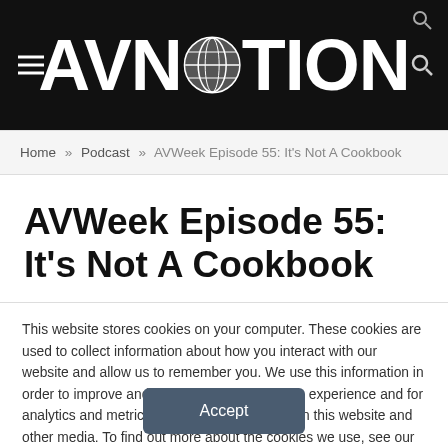AVNation
Home » Podcast » AVWeek Episode 55: It's Not A Cookbook
AVWeek Episode 55: It's Not A Cookbook
This website stores cookies on your computer. These cookies are used to collect information about how you interact with our website and allow us to remember you. We use this information in order to improve and customize your browsing experience and for analytics and metrics about our visitors both on this website and other media. To find out more about the cookies we use, see our Privacy Policy.
Accept